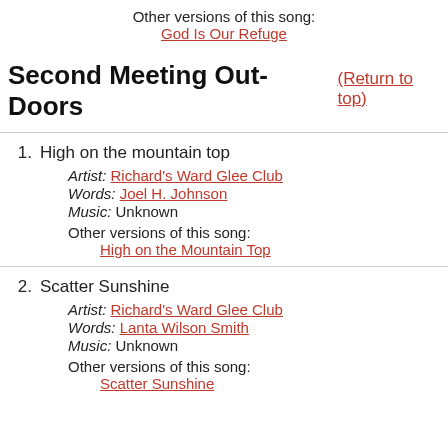Other versions of this song:
God Is Our Refuge
Second Meeting Out-Doors   (Return to top)
1. High on the mountain top
Artist: Richard's Ward Glee Club
Words: Joel H. Johnson
Music: Unknown
Other versions of this song:
High on the Mountain Top
2. Scatter Sunshine
Artist: Richard's Ward Glee Club
Words: Lanta Wilson Smith
Music: Unknown
Other versions of this song:
Scatter Sunshine